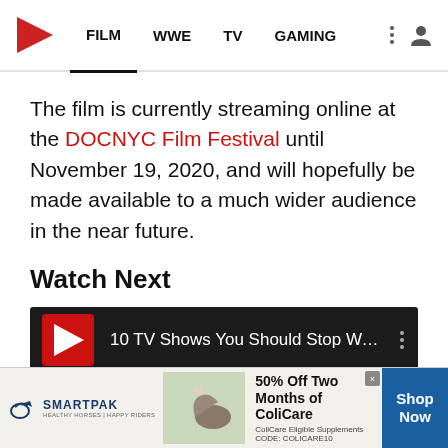FILM | WWE | TV | GAMING
The film is currently streaming online at the DOCNYC Film Festival until November 19, 2020, and will hopefully be made available to a much wider audience in the near future.
Watch Next
[Figure (screenshot): Video card with title '10 TV Shows You Should Stop Watc...' on dark background with red logo icon, followed by a thumbnail image strip]
[Figure (infographic): SmartPak advertisement banner: 50% Off Two Months of ColiCare. ColiCare Eligible Supplements CODE: COLICARE10. Shop Now button.]